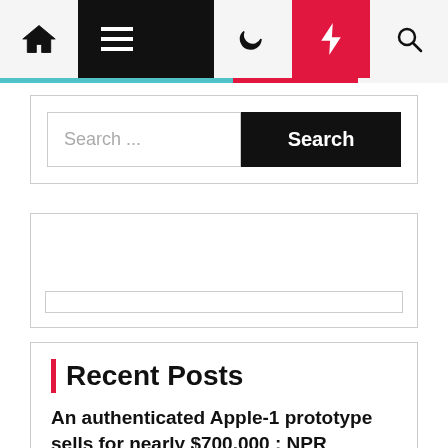Navigation bar with home, menu, moon, bolt, search icons
Search ...
Search
Recent Posts
An authenticated Apple-1 prototype sells for nearly $700,000 : NPR
Apple security flaw allows hackers to fully control iPhones, iPads and Macs